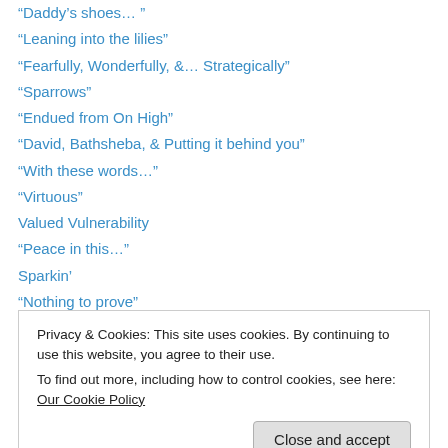“Daddy’s shoes… ”
“Leaning into the lilies”
“Fearfully, Wonderfully, &… Strategically”
“Sparrows”
“Endued from On High”
“David, Bathsheba, & Putting it behind you”
“With these words…”
“Virtuous”
Valued Vulnerability
“Peace in this…”
Sparkin’
“Nothing to prove”
THE LAMB “Hell trembles and Earth quakes”
Privacy & Cookies: This site uses cookies. By continuing to use this website, you agree to their use.
To find out more, including how to control cookies, see here: Our Cookie Policy
*Undeniable* On Earth as in Heaven